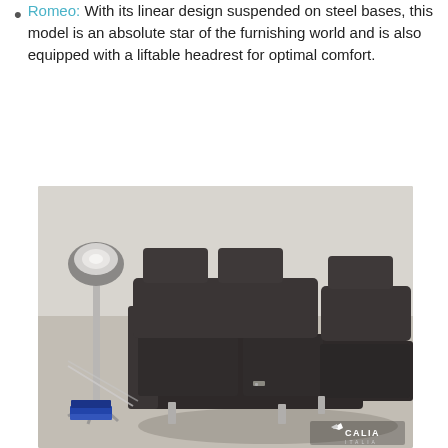Romeo: With its linear design suspended on steel bases, this model is an absolute star of the furnishing world and is also equipped with a liftable headrest for optimal comfort.
[Figure (photo): Dark leather sectional sofa with lifted headrests on steel bases, shown in a modern room with a chrome floor lamp and glass table. Calia Italia logo visible in lower right corner.]